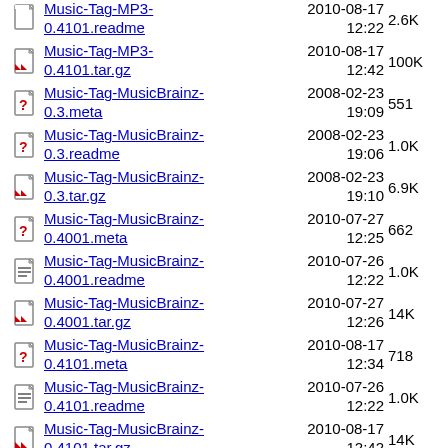Music-Tag-MP3-0.4101.readme  2010-08-17 12:22  2.6K
Music-Tag-MP3-0.4101.tar.gz  2010-08-17 12:42  100K
Music-Tag-MusicBrainz-0.3.meta  2008-02-23 19:09  551
Music-Tag-MusicBrainz-0.3.readme  2008-02-23 19:06  1.0K
Music-Tag-MusicBrainz-0.3.tar.gz  2008-02-23 19:10  6.9K
Music-Tag-MusicBrainz-0.4001.meta  2010-07-27 12:25  662
Music-Tag-MusicBrainz-0.4001.readme  2010-07-26 12:22  1.0K
Music-Tag-MusicBrainz-0.4001.tar.gz  2010-07-27 12:26  14K
Music-Tag-MusicBrainz-0.4101.meta  2010-08-17 12:34  718
Music-Tag-MusicBrainz-0.4101.readme  2010-07-26 12:22  1.0K
Music-Tag-MusicBrainz-0.4101.tar.gz  2010-08-17 12:42  14K
Music-Tag-OGG-0.35.meta  2010-05-14 11:29  652